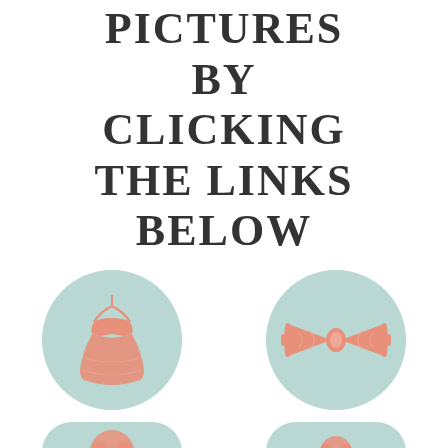PICTURES BY CLICKING THE LINKS BELOW
[Figure (infographic): Two circular icons side by side: left circle (light teal) contains a pink/coral wedding dress icon with label BRIDE PREP below; right circle (light teal) contains a pink/coral bow tie icon with label GROOM PREP below. Two more partial circles visible at the bottom.]